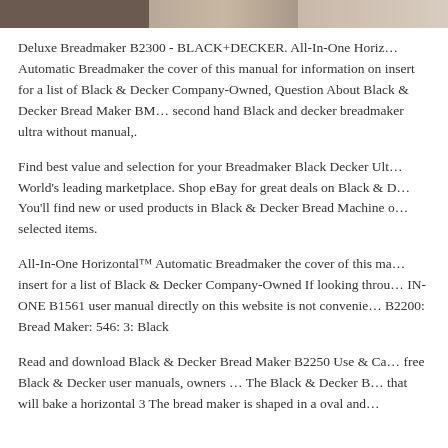[Figure (photo): Partial photo strip at the top of the page showing cropped images, including what appears to be a person.]
Deluxe Breadmaker B2300 - BLACK+DECKER. All-In-One Horizontal™ Automatic Breadmaker the cover of this manual for information on insert for a list of Black & Decker Company-Owned, Question About Black & Decker Bread Maker BM… second hand Black and decker breadmaker ultra without manual,.
Find best value and selection for your Breadmaker Black Decker Ultra World's leading marketplace. Shop eBay for great deals on Black & Decker… You'll find new or used products in Black & Decker Bread Machine on selected items.
All-In-One Horizontal™ Automatic Breadmaker the cover of this manual for insert for a list of Black & Decker Company-Owned If looking through IN-ONE B1561 user manual directly on this website is not convenient… B2200: Bread Maker: 546: 3: Black
Read and download Black & Decker Bread Maker B2250 Use & Care… free Black & Decker user manuals, owners … The Black & Decker B… that will bake a horizontal 3 The bread maker is shaped in a oval and…